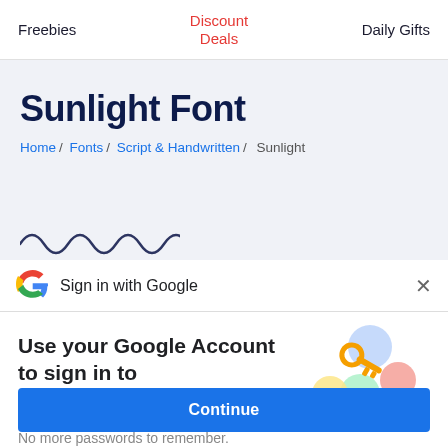Freebies  |  Discount Deals  |  Daily Gifts
Sunlight Font
Home / Fonts / Script & Handwritten / Sunlight
[Figure (other): Squiggly wave decoration line in dark teal/navy color]
Sign in with Google
Use your Google Account to sign in to creativefabrica.com
No more passwords to remember.
Signing in is fast, simple and secure.
[Figure (illustration): Google sign-in illustration with colorful circles and a golden key icon]
Continue